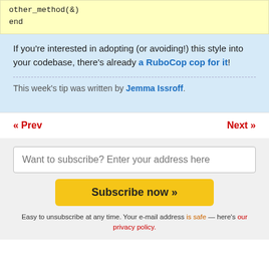other_method(&)
end
If you're interested in adopting (or avoiding!) this style into your codebase, there's already a RuboCop cop for it!
This week's tip was written by Jemma Issroff.
« Prev
Next »
Want to subscribe? Enter your address here
Subscribe now »
Easy to unsubscribe at any time. Your e-mail address is safe — here's our privacy policy.